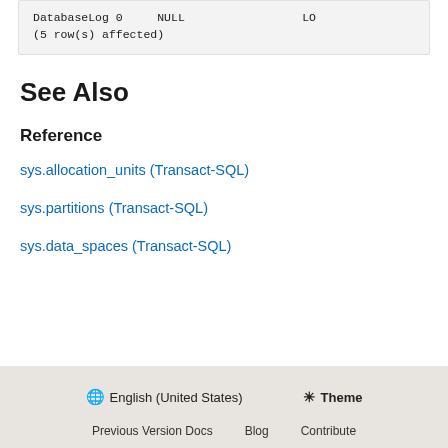DatabaseLog 0    NULL    LO
(5 row(s) affected)
See Also
Reference
sys.allocation_units (Transact-SQL)
sys.partitions (Transact-SQL)
sys.data_spaces (Transact-SQL)
English (United States)   Theme   Previous Version Docs   Blog   Contribute